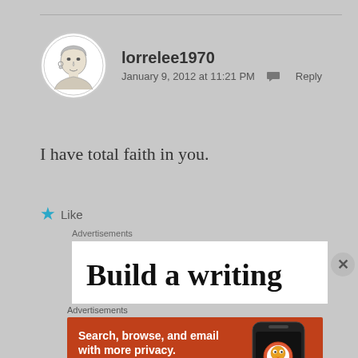[Figure (illustration): Circular avatar photo of a woman, sketched/illustrated style, white background with gray border]
lorrelee1970
January 9, 2012 at 11:21 PM  Reply
I have total faith in you.
Like
Advertisements
[Figure (screenshot): White advertisement box showing partial text 'Build a writing']
Advertisements
[Figure (illustration): DuckDuckGo advertisement banner with orange background showing 'Search, browse, and email with more privacy. All in One Free App' with DuckDuckGo logo and phone mockup]